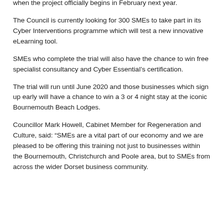when the project officially begins in February next year.
The Council is currently looking for 300 SMEs to take part in its Cyber Interventions programme which will test a new innovative eLearning tool.
SMEs who complete the trial will also have the chance to win free specialist consultancy and Cyber Essential’s certification.
The trial will run until June 2020 and those businesses which sign up early will have a chance to win a 3 or 4 night stay at the iconic Bournemouth Beach Lodges.
Councillor Mark Howell, Cabinet Member for Regeneration and Culture, said: “SMEs are a vital part of our economy and we are pleased to be offering this training not just to businesses within the Bournemouth, Christchurch and Poole area, but to SMEs from across the wider Dorset business community.